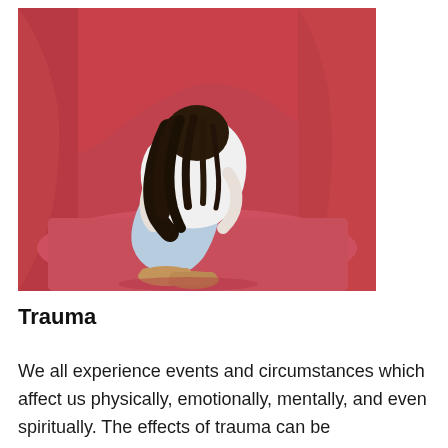[Figure (photo): A person with dark hair wearing a white top and light blue jeans curled over with head down, sitting on a red/pink curved surface, appearing distressed. They are wearing tan/brown shoes.]
Trauma
We all experience events and circumstances which affect us physically, emotionally, mentally, and even spiritually. The effects of trauma can be